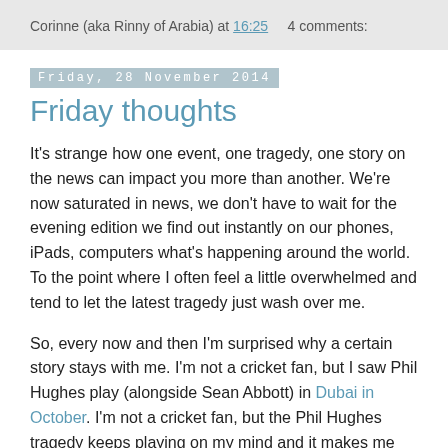Corinne (aka Rinny of Arabia) at 16:25    4 comments:
Friday, 28 November 2014
Friday thoughts
It's strange how one event, one tragedy, one story on the news can impact you more than another. We're now saturated in news, we don't have to wait for the evening edition we find out instantly on our phones, iPads, computers what's happening around the world. To the point where I often feel a little overwhelmed and tend to let the latest tragedy just wash over me.
So, every now and then I'm surprised why a certain story stays with me. I'm not a cricket fan, but I saw Phil Hughes play (alongside Sean Abbott) in Dubai in October. I'm not a cricket fan, but the Phil Hughes tragedy keeps playing on my mind and it makes me wonder why this story impacted me over another. The whole situation is just awful.